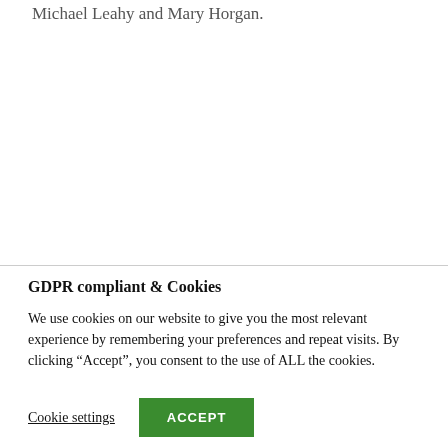Michael Leahy and Mary Horgan.
GDPR compliant & Cookies
We use cookies on our website to give you the most relevant experience by remembering your preferences and repeat visits. By clicking “Accept”, you consent to the use of ALL the cookies.
Cookie settings   ACCEPT